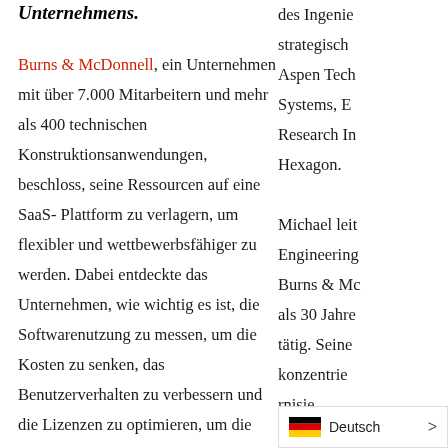Unternehmens.
Burns & McDonnell, ein Unternehmen mit über 7.000 Mitarbeitern und mehr als 400 technischen Konstruktionsanwendungen, beschloss, seine Ressourcen auf eine SaaS-Plattform zu verlagern, um flexibler und wettbewerbsfähiger zu werden. Dabei entdeckte das Unternehmen, wie wichtig es ist, die Softwarenutzung zu messen, um die Kosten zu senken, das Benutzerverhalten zu verbessern und die Lizenzen zu optimieren, um die Vorteile der Cloud-Migration zu
des Ingenie strategisch Aspen Tech Systems, E Research In Hexagon. Michael leit Engineering Burns & Mc als 30 Jahre tätig. Seine konzentrie rnisie rung d
Deutsch